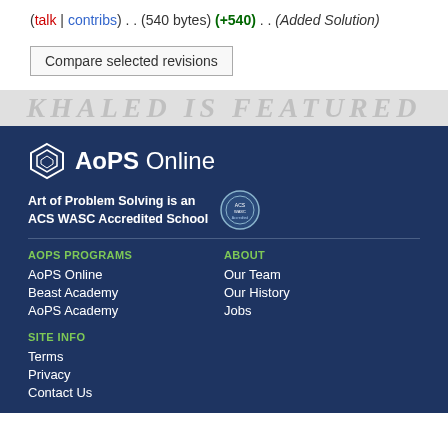(talk | contribs) . . (540 bytes) (+540) . . (Added Solution)
Compare selected revisions
[Figure (other): Watermark strip with faint italic text]
[Figure (logo): AoPS Online logo with hexagonal icon]
Art of Problem Solving is an ACS WASC Accredited School
AOPS PROGRAMS
AoPS Online
Beast Academy
AoPS Academy
ABOUT
Our Team
Our History
Jobs
SITE INFO
Terms
Privacy
Contact Us